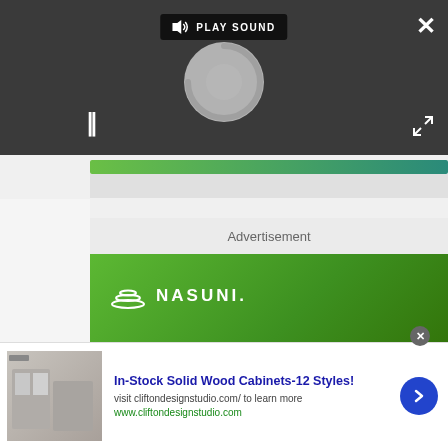[Figure (screenshot): Video player overlay with dark background, PLAY SOUND button with speaker icon at top center, a loading spinner circle in the center, pause button (‖) at bottom left, close (×) button at top right, and expand arrows at bottom right]
[Figure (screenshot): Progress bar with green gradient color below the video player area]
Advertisement
[Figure (logo): Nasuni advertisement banner with green gradient background showing the Nasuni logo (stacked discs icon) and the text NASUNI. in white]
[Figure (screenshot): Bottom advertisement banner: image of interior space on left, bold blue title 'In-Stock Solid Wood Cabinets-12 Styles!', subtext 'visit cliftondesignstudio.com/ to learn more', green link 'www.cliftondesignstudio.com', blue circle arrow button on right]